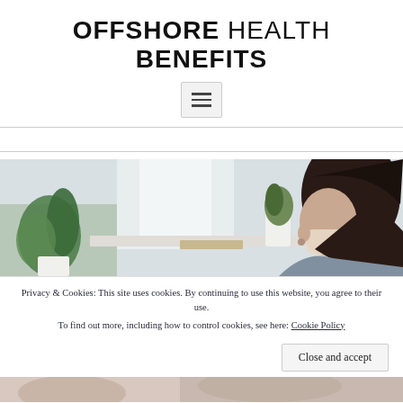OFFSHORE HEALTH BENEFITS
[Figure (other): Hamburger menu button icon with three horizontal lines]
[Figure (photo): Woman wearing a face mask sitting at a desk near a window with green plants in white pots on the windowsill]
Privacy & Cookies: This site uses cookies. By continuing to use this website, you agree to their use.
To find out more, including how to control cookies, see here: Cookie Policy
Close and accept
[Figure (photo): Bottom portion of another photo, partially visible]